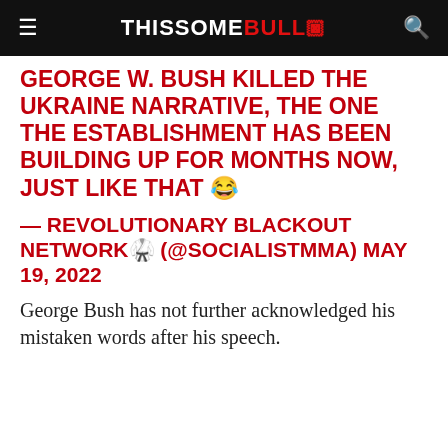THISSOMEBULL🐂
GEORGE W. BUSH KILLED THE UKRAINE NARRATIVE, THE ONE THE ESTABLISHMENT HAS BEEN BUILDING UP FOR MONTHS NOW, JUST LIKE THAT 😂
— REVOLUTIONARY BLACKOUT NETWORK🥋 (@SOCIALISTMMA) MAY 19, 2022
George Bush has not further acknowledged his mistaken words after his speech.